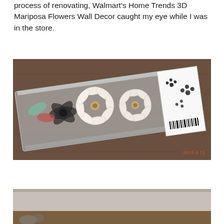process of renovating, Walmart's Home Trends 3D Mariposa Flowers Wall Decor caught my eye while I was in the store.
[Figure (photo): Packaged Walmart Home Trends 3D Mariposa Flowers Wall Decor product shown in its clear plastic box packaging, lying on a wooden table. The box contains decorative flowers including white orchid-like flowers and dark floral elements. A white label/card is visible on the right end of the package. A red date stamp reads 2015 4 11.]
[Figure (photo): Partial view of a second photo showing what appears to be a wall or surface, partially cut off at the bottom of the page.]